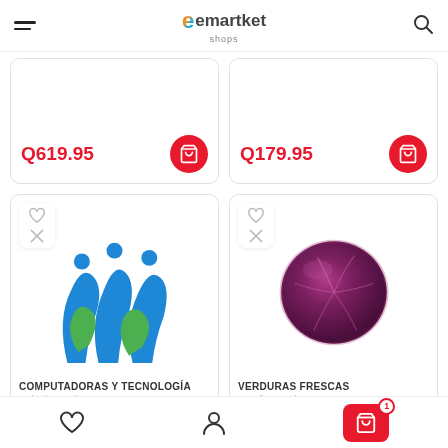emartket shops
Q619.95
Q179.95
[Figure (logo): Blue and green abstract logo with flowing waves and leaf shapes — Computadoras y Tecnología category]
COMPUTADORAS Y TECNOLOGÍA
[Figure (photo): Photo of a red/purple cabbage — Verduras Frescas category]
VERDURAS FRESCAS
Heart / Wishlist | Account | Cart (1)